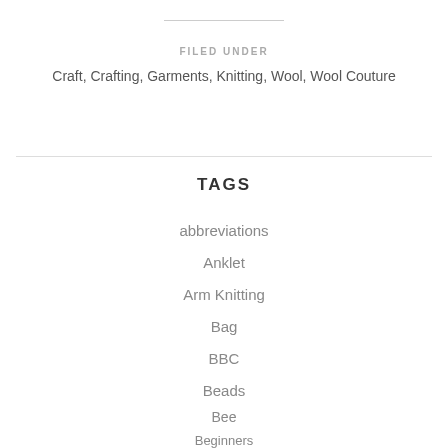FILED UNDER
Craft, Crafting, Garments, Knitting, Wool, Wool Couture
TAGS
abbreviations
Anklet
Arm Knitting
Bag
BBC
Beads
Bee
Beginners
Bla...